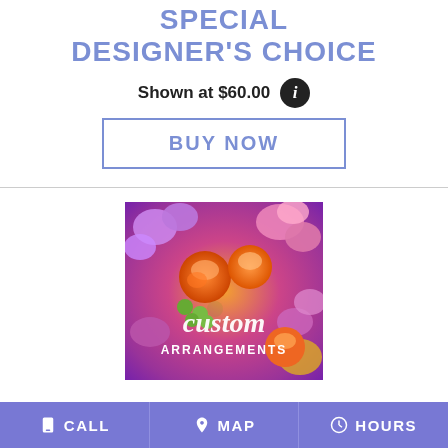SPECIAL DESIGNER'S CHOICE
Shown at $60.00
BUY NOW
[Figure (photo): A colorful floral arrangement with orange roses, pink and purple flowers, green berries, and text reading 'custom ARRANGEMENTS']
CALL  MAP  HOURS